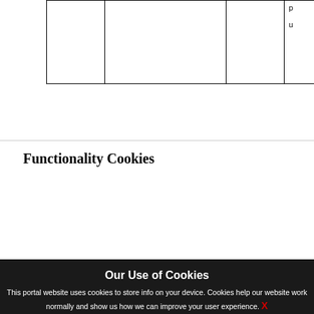| Provider | Cookie | Cookie-Type | Purpose |
| --- | --- | --- | --- |
|  |  |  | p...
u... |
Functionality Cookies
These cookies are used to recognize you and remember your preferences or settings when you return to the site.
| Provider | Cookie | Cookie-Type | Purpo... |
| --- | --- | --- | --- |
Our Use of Cookies
This portal website uses cookies to store info on your device. Cookies help our website work normally and show us how we can improve your user experience. X By continuing to browse the site you are agreeing to our cookie policy.
Manage Cookie Preference   Use Essential Cookie